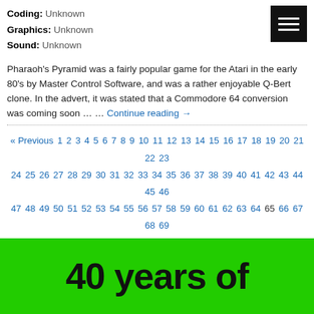Coding: Unknown
Graphics: Unknown
Sound: Unknown
Pharaoh's Pyramid was a fairly popular game for the Atari in the early 80's by Master Control Software, and was a rather enjoyable Q-Bert clone. In the advert, it was stated that a Commodore 64 conversion was coming soon … … Continue reading →
« Previous 1 2 3 4 5 6 7 8 9 10 11 12 13 14 15 16 17 18 19 20 21 22 23 24 25 26 27 28 29 30 31 32 33 34 35 36 37 38 39 40 41 42 43 44 45 46 47 48 49 50 51 52 53 54 55 56 57 58 59 60 61 62 63 64 65 66 67 68 69 70 71 72 73 74 75 76 77 78 79 80 81 82 83 84 85 86 87 88 89 90 91 92 93 94 95 96 97 98 99 100 101 102 103 104 105 106 107 108 109 110 111 112 Next »
[Figure (illustration): Green banner with text '40 years of' in large bold black font]